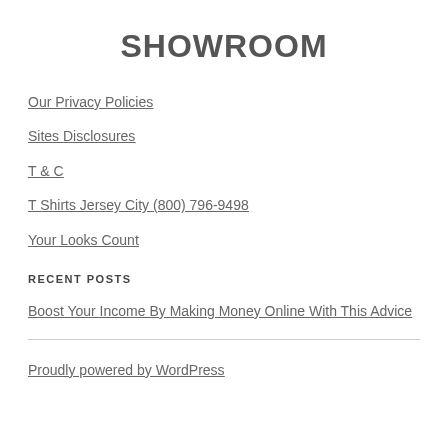SHOWROOM
Our Privacy Policies
Sites Disclosures
T & C
T Shirts Jersey City (800) 796-9498
Your Looks Count
RECENT POSTS
Boost Your Income By Making Money Online With This Advice
Proudly powered by WordPress